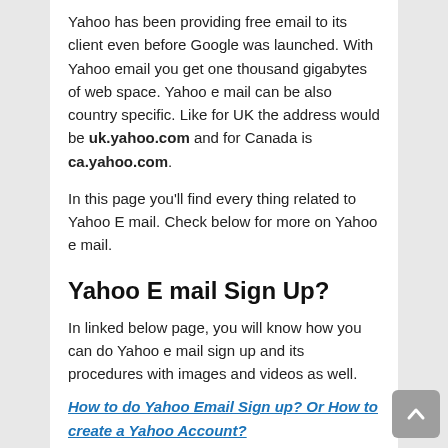Yahoo has been providing free email to its client even before Google was launched. With Yahoo email you get one thousand gigabytes of web space. Yahoo e mail can be also country specific. Like for UK the address would be uk.yahoo.com and for Canada is ca.yahoo.com.
In this page you'll find every thing related to Yahoo E mail. Check below for more on Yahoo e mail.
Yahoo E mail Sign Up?
In linked below page, you will know how you can do Yahoo e mail sign up and its procedures with images and videos as well.
How to do Yahoo Email Sign up? Or How to create a Yahoo Account?
Sign up